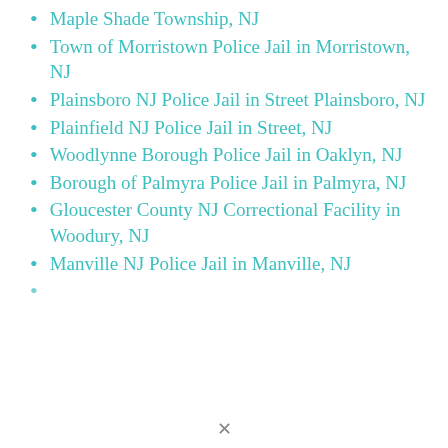Maple Shade Township, NJ
Town of Morristown Police Jail in Morristown, NJ
Plainsboro NJ Police Jail in Street Plainsboro, NJ
Plainfield NJ Police Jail in Street, NJ
Woodlynne Borough Police Jail in Oaklyn, NJ
Borough of Palmyra Police Jail in Palmyra, NJ
Gloucester County NJ Correctional Facility in Woodury, NJ
Manville NJ Police Jail in Manville, NJ
[partially visible] NJ Police Jail in [truncated]